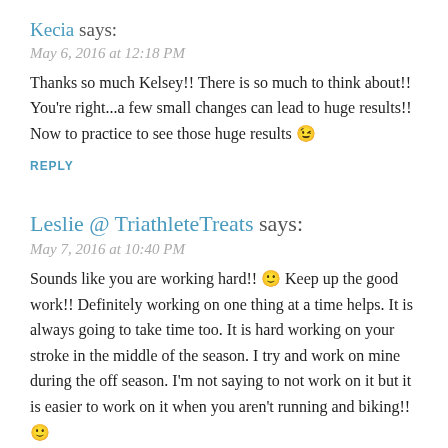Kecia says:
May 6, 2016 at 12:18 PM
Thanks so much Kelsey!! There is so much to think about!! You're right...a few small changes can lead to huge results!! Now to practice to see those huge results 😉
REPLY
Leslie @ TriathleteTreats says:
May 7, 2016 at 10:40 PM
Sounds like you are working hard!! 🙂 Keep up the good work!! Definitely working on one thing at a time helps. It is always going to take time too. It is hard working on your stroke in the middle of the season. I try and work on mine during the off season. I'm not saying to not work on it but it is easier to work on it when you aren't running and biking!! 🙂
REPLY